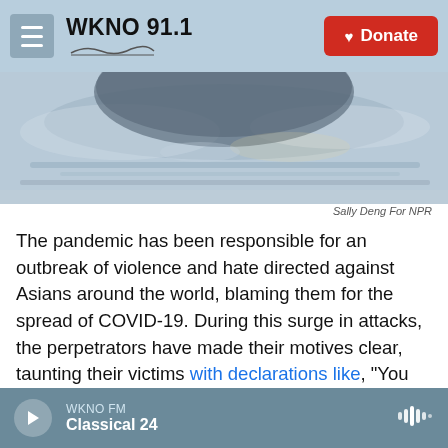WKNO 91.1  Donate
[Figure (illustration): Decorative illustration showing a stylized abstract scene with blues and grays, partial bottom of a globe or bowl shape with sky/cloud imagery]
Sally Deng For NPR
The pandemic has been responsible for an outbreak of violence and hate directed against Asians around the world, blaming them for the spread of COVID-19. During this surge in attacks, the perpetrators have made their motives clear, taunting their victims with declarations like, "You have the Chinese Virus, go back to China!" and assaulting them and spitting on them.
WKNO FM  Classical 24